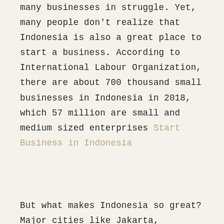many businesses in struggle. Yet, many people don't realize that Indonesia is also a great place to start a business. According to International Labour Organization, there are about 700 thousand small businesses in Indonesia in 2018, which 57 million are small and medium sized enterprises Start Business in Indonesia
But what makes Indonesia so great? Major cities like Jakarta, Bandung, Yogyakarta, and Surabaya, an impressive university system, and low taxes means the Sunshine country is ripe with opportunity for savvy business owners. Keep reading to learn